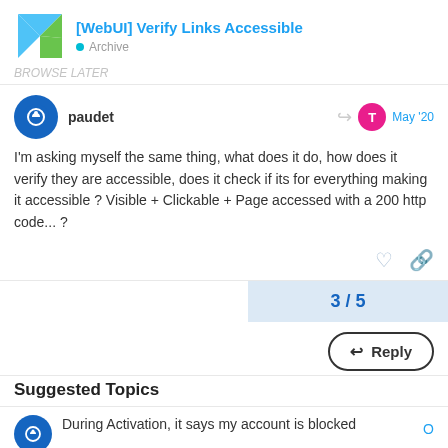[WebUI] Verify Links Accessible • Archive
BROWSE LATER
paudet  May '20
I'm asking myself the same thing, what does it do, how does it verify they are accessible, does it check if its for everything making it accessible ? Visible + Clickable + Page accessed with a 200 http code... ?
3 / 5
Reply
Suggested Topics
During Activation, it says my account is blocked